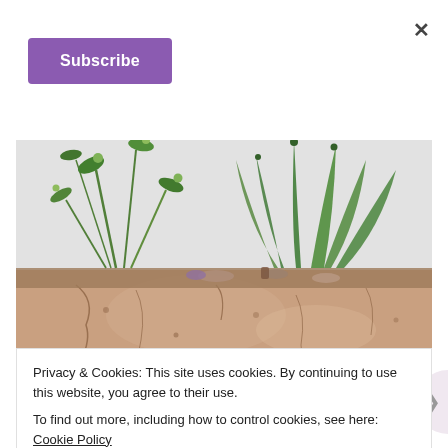[Figure (other): Close button (X) in top right corner]
[Figure (other): Purple 'Subscribe' button in top left area]
[Figure (photo): Close-up photograph of succulent/green plants growing in a rustic cracked stone or terracotta rectangular pot, against a light grey background]
Privacy & Cookies: This site uses cookies. By continuing to use this website, you agree to their use.
To find out more, including how to control cookies, see here: Cookie Policy
[Figure (other): Close and accept button (rounded rectangle button)]